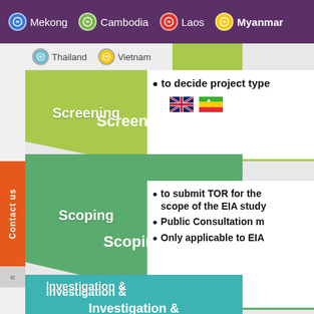Mekong | Cambodia | Laos | Myanmar | Thailand | Vietnam
[Figure (infographic): EIA process flow diagram with chevron arrows: Screening (light green), Scoping (medium green), Investigation & (teal). Left sidebar contact button.]
to decide project type
to submit TOR for the scope of the EIA study
Public Consultation m...
Only applicable to EIA
to undertake data coll... and to prepare the rep...
Public Consultation m...